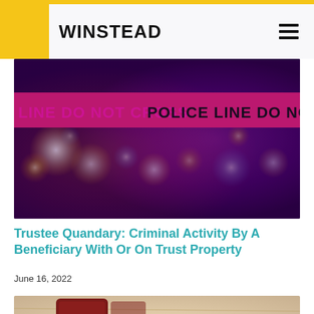WINSTEAD
[Figure (photo): Police crime scene tape in pink and black reading 'LINE DO NOT CROSS POLICE LINE DO NOT CROSS' with blurred colorful lights in the background]
Trustee Quandary: Criminal Activity By A Beneficiary With Or On Trust Property
June 16, 2022
[Figure (photo): Close-up photo of a dark red/brown tile or Scrabble letter on a light wooden surface, partially visible]